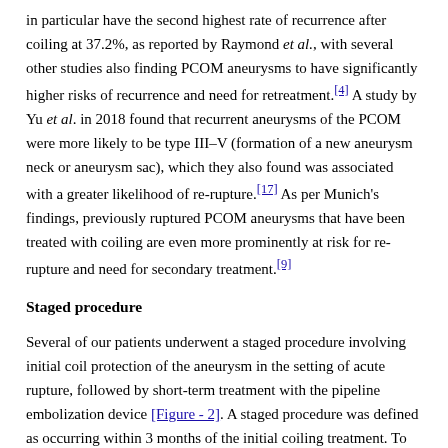in particular have the second highest rate of recurrence after coiling at 37.2%, as reported by Raymond et al., with several other studies also finding PCOM aneurysms to have significantly higher risks of recurrence and need for retreatment.[4] A study by Yu et al. in 2018 found that recurrent aneurysms of the PCOM were more likely to be type III–V (formation of a new aneurysm neck or aneurysm sac), which they also found was associated with a greater likelihood of re-rupture.[17] As per Munich's findings, previously ruptured PCOM aneurysms that have been treated with coiling are even more prominently at risk for re-rupture and need for secondary treatment.[9]
Staged procedure
Several of our patients underwent a staged procedure involving initial coil protection of the aneurysm in the setting of acute rupture, followed by short-term treatment with the pipeline embolization device [Figure - 2]. A staged procedure was defined as occurring within 3 months of the initial coiling treatment. To our knowledge, this has only been described once previously in the literature, in the form of a case report by Haider et al., who described a patient who suffered from aneurysmal subarachnoid hemorrhage secondary to a multilobulated left PCOM